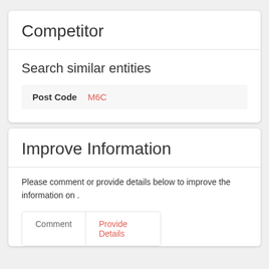Competitor
Search similar entities
| Post Code | M6C |
| --- | --- |
Improve Information
Please comment or provide details below to improve the information on .
Comment	Provide Details